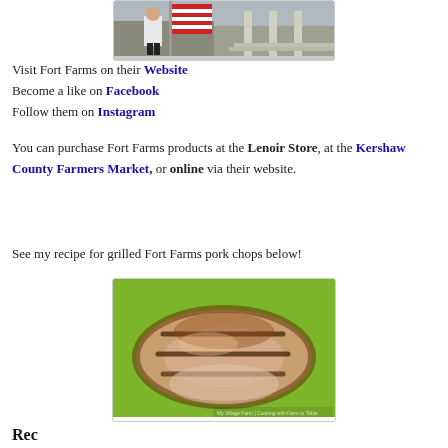[Figure (photo): Photo of person in white uniform holding American flag in front of a building]
Visit Fort Farms on their Website
Become a like on Facebook
Follow them on Instagram
You can purchase Fort Farms products at the Lenoir Store, at the Kershaw County Farmers Market, or online via their website.
See my recipe for grilled Fort Farms pork chops below!
[Figure (photo): Photo of grilled pork chops on a green surface]
Recipe